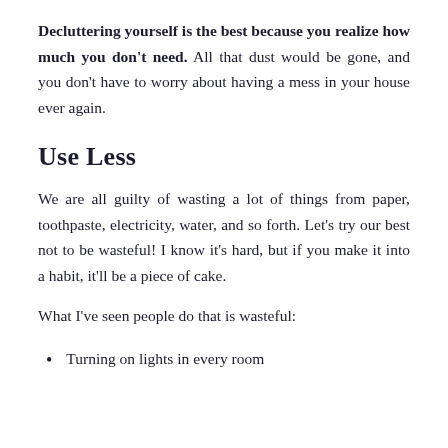Decluttering yourself is the best because you realize how much you don't need. All that dust would be gone, and you don't have to worry about having a mess in your house ever again.
Use Less
We are all guilty of wasting a lot of things from paper, toothpaste, electricity, water, and so forth. Let's try our best not to be wasteful! I know it's hard, but if you make it into a habit, it'll be a piece of cake.
What I've seen people do that is wasteful:
Turning on lights in every room